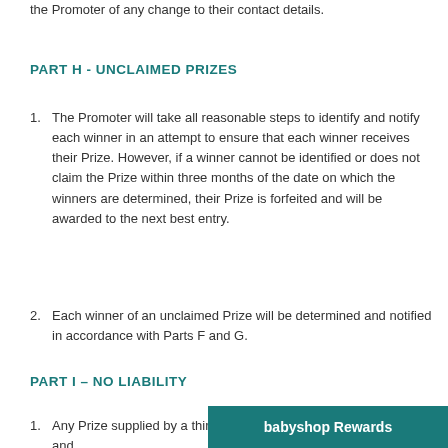the Promoter of any change to their contact details.
PART H - UNCLAIMED PRIZES
The Promoter will take all reasonable steps to identify and notify each winner in an attempt to ensure that each winner receives their Prize. However, if a winner cannot be identified or does not claim the Prize within three months of the date on which the winners are determined, their Prize is forfeited and will be awarded to the next best entry.
Each winner of an unclaimed Prize will be determined and notified in accordance with Parts F and G.
PART I – NO LIABILITY
Any Prize supplied by a third party supplier is subject to the terms and
babyshop Rewards